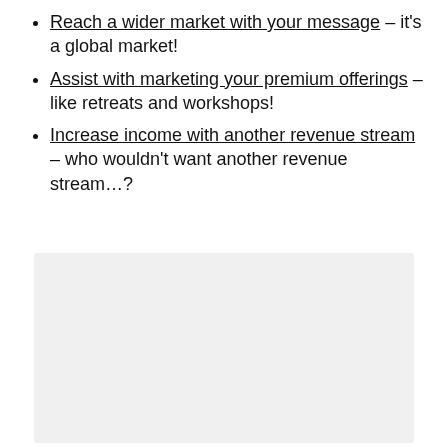Reach a wider market with your message – it's a global market!
Assist with marketing your premium offerings – like retreats and workshops!
Increase income with another revenue stream – who wouldn't want another revenue stream…?
[Figure (other): Light gray rectangular box occupying the lower portion of the page]